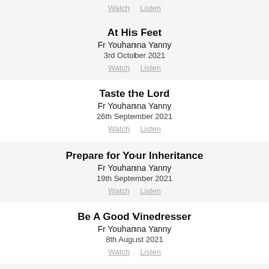At His Feet
Fr Youhanna Yanny
3rd October 2021
Watch   Listen
Taste the Lord
Fr Youhanna Yanny
26th September 2021
Watch   Listen
Prepare for Your Inheritance
Fr Youhanna Yanny
19th September 2021
Watch   Listen
Be A Good Vinedresser
Fr Youhanna Yanny
8th August 2021
Watch   Listen
Be A Stepping Stone